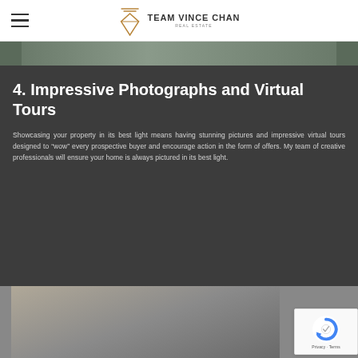Team Vince Chan Real Estate
[Figure (photo): Top partial image strip showing a dark green/grey scene, partially visible]
4. Impressive Photographs and Virtual Tours
Showcasing your property in its best light means having stunning pictures and impressive virtual tours designed to “wow” every prospective buyer and encourage action in the form of offers. My team of creative professionals will ensure your home is always pictured in its best light.
[Figure (photo): Bottom partial image showing a smartphone being held in a living room setting]
[Figure (other): Google reCAPTCHA badge with Privacy and Terms links]